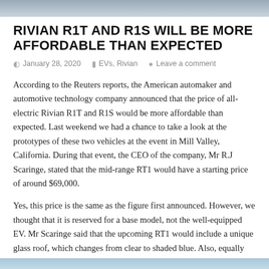RIVIAN R1T AND R1S WILL BE MORE AFFORDABLE THAN EXPECTED
January 28, 2020   EVs, Rivian   Leave a comment
According to the Reuters reports, the American automaker and automotive technology company announced that the price of all-electric Rivian R1T and R1S would be more affordable than expected. Last weekend we had a chance to take a look at the prototypes of these two vehicles at the event in Mill Valley, California. During that event, the CEO of the company, Mr R.J Scaringe, stated that the mid-range RT1 would have a starting price of around $69,000.
Yes, this price is the same as the figure first announced. However, we thought that it is reserved for a base model, not the well-equipped EV. Mr Scaringe said that the upcoming RT1 would include a unique glass roof, which changes from clear to shaded blue. Also, equally equipped R1S SUV will have a starting price of $72,000.